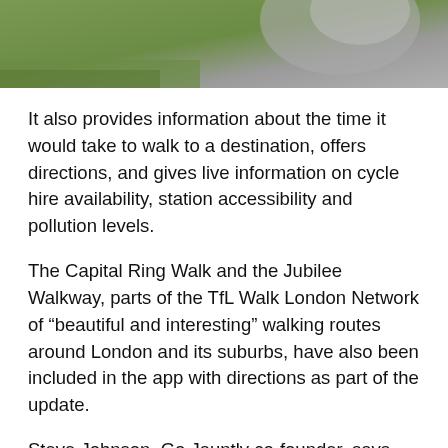[Figure (photo): Cropped photo showing a person outdoors with green/grey background, only the top portion visible]
It also provides information about the time it would take to walk to a destination, offers directions, and gives live information on cycle hire availability, station accessibility and pollution levels.
The Capital Ring Walk and the Jubilee Walkway, parts of the TfL Walk London Network of “beautiful and interesting” walking routes around London and its suburbs, have also been included in the app with directions as part of the update.
Steve Johnson, Go Jauntly co-founder, says prior to the routes being incorporated into the app, “walkers would have to navigate using a PDF, which was difficult and left people missing out key